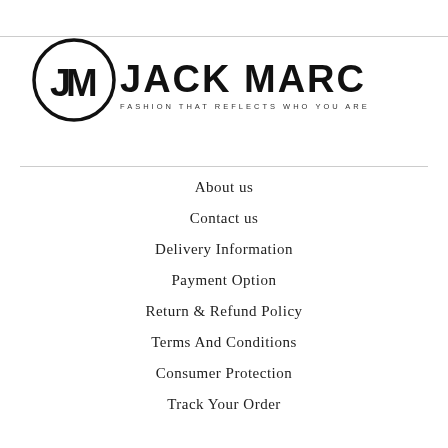[Figure (logo): Jack Marc fashion brand logo: circular JM monogram icon with bold text JACK MARC and tagline FASHION THAT REFLECTS WHO YOU ARE]
About us
Contact us
Delivery Information
Payment Option
Return & Refund Policy
Terms And Conditions
Consumer Protection
Track Your Order